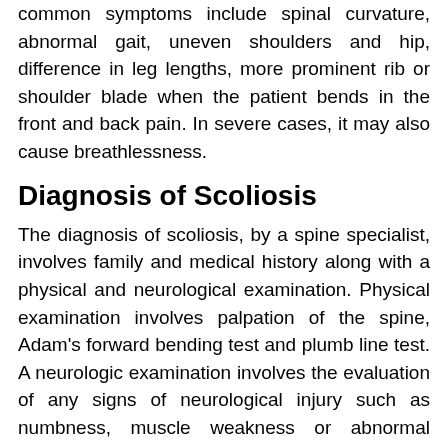common symptoms include spinal curvature, abnormal gait, uneven shoulders and hip, difference in leg lengths, more prominent rib or shoulder blade when the patient bends in the front and back pain. In severe cases, it may also cause breathlessness.
Diagnosis of Scoliosis
The diagnosis of scoliosis, by a spine specialist, involves family and medical history along with a physical and neurological examination. Physical examination involves palpation of the spine, Adam's forward bending test and plumb line test. A neurologic examination involves the evaluation of any signs of neurological injury such as numbness, muscle weakness or abnormal reflexes. X-ray of the spine in different positions such as standing and bending forward is also helpful. Other specific tests for diagnosing scoliosis include a measure of the degree of spinal curve (scoliometer), degree of vertebral rotation and skeletal maturity. Additional tests to identify the cause of scoliosis may also be conducted.